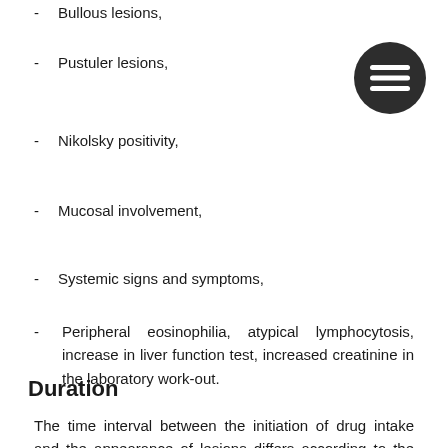Bullous lesions,
Pustuler lesions,
Nikolsky positivity,
Mucosal involvement,
Systemic signs and symptoms,
Peripheral eosinophilia, atypical lymphocytosis, increase in liver function test, increased creatinine in the laboratory work-out.
Duration
The time interval between the initiation of drug intake and the appearance of lesions differs according to the type of reaction. The earliest are urticaria or angioedema, which ocur within minutes to hours. AGEP occurs in less than four days. Exanthematous drug reactions ocur within 4 to 14 days. SJS or TEN ocur in 7 to 21